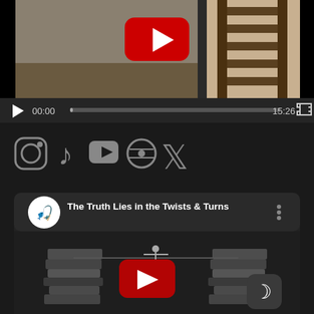[Figure (screenshot): Video player showing a ladder/books image with YouTube play button overlay, video controls showing 00:00 / 15:26, play button and fullscreen button on dark background]
[Figure (screenshot): Social media icons row: Instagram, TikTok, YouTube, WordPress, Twitter/X, Etsy (E) on dark background]
[Figure (screenshot): YouTube video card titled 'The Truth Lies in the Twists & Turns' showing a person walking a tightrope between stacks of books with YouTube play button, channel logo circle, three-dot menu, and a dark mode moon icon button]